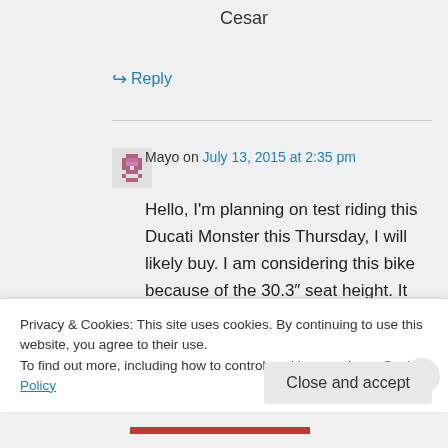Cesar
↳ Reply
Mayo on July 13, 2015 at 2:35 pm
Hello, I'm planning on test riding this Ducati Monster this Thursday, I will likely buy. I am considering this bike because of the 30.3" seat height. It looks like I'll be able to sit
Privacy & Cookies: This site uses cookies. By continuing to use this website, you agree to their use.
To find out more, including how to control cookies, see here: Cookie Policy
Close and accept